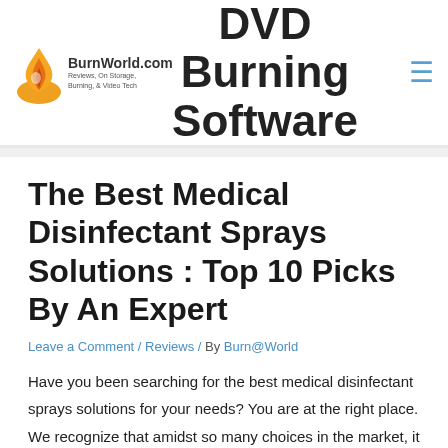DVD Burning Software
[Figure (logo): BurnWorld.com logo with flame graphic and tagline: Reviews, On Storage, Burning, & Video Tech]
The Best Medical Disinfectant Sprays Solutions : Top 10 Picks By An Expert
Leave a Comment / Reviews / By Burn@World
Have you been searching for the best medical disinfectant sprays solutions for your needs? You are at the right place. We recognize that amidst so many choices in the market, it can be perplexing and confusing to make the right pick.